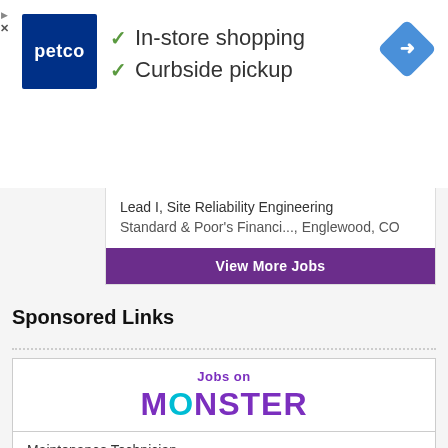[Figure (screenshot): Petco advertisement banner with logo, checkmarks for In-store shopping and Curbside pickup, and a navigation diamond icon]
Lead I, Site Reliability Engineering
Standard & Poor's Financi..., Englewood, CO
View More Jobs
Sponsored Links
[Figure (logo): Jobs on Monster logo with purple and teal letters]
Maintenance Technician
Fujimi Corporation, Tualatin, OR
Maintenance and Grounds
Cheyenne Mountain Distric..., Colorado Spring
Senior Staff Quality Manufacturing Engineer ...